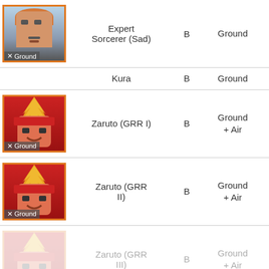| Character | Name | Rank | Type | # |
| --- | --- | --- | --- | --- |
| [Expert Sorcerer image] | Expert Sorcerer (Sad) | B | Ground | 6 |
|  | Kura | B | Ground | 5 |
| [Zaruto GRR I image] | Zaruto (GRR I) | B | Ground + Air | 6 |
| [Zaruto GRR II image] | Zaruto (GRR II) | B | Ground + Air | 6 |
| [Zaruto GRR III image] | Zaruto (GRR III) | B | Ground + Air | 6 |